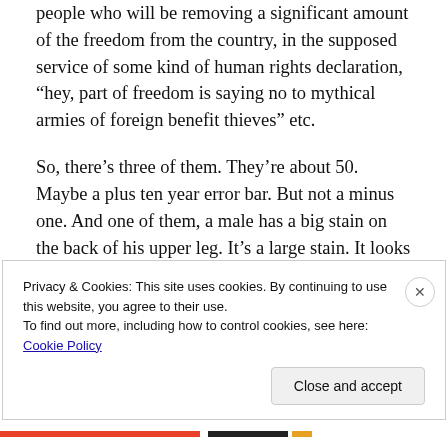people who will be removing a significant amount of the freedom from the country, in the supposed service of some kind of human rights declaration, “hey, part of freedom is saying no to mythical armies of foreign benefit thieves” etc.
So, there’s three of them. They’re about 50. Maybe a plus ten year error bar. But not a minus one. And one of them, a male has a big stain on the back of his upper leg. It’s a large stain. It looks like food. Like someone has thrown a ball of curry and it’s glanced off his thigh leaving a significant stain.
Privacy & Cookies: This site uses cookies. By continuing to use this website, you agree to their use.
To find out more, including how to control cookies, see here: Cookie Policy